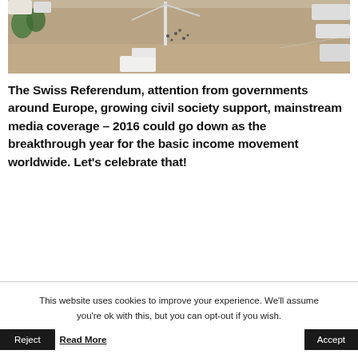[Figure (photo): Aerial view of a large open square or plaza with a crane/construction equipment, people, vehicles and trees visible from above.]
The Swiss Referendum, attention from governments around Europe, growing civil society support, mainstream media coverage – 2016 could go down as the breakthrough year for the basic income movement worldwide. Let's celebrate that!
This website uses cookies to improve your experience. We'll assume you're ok with this, but you can opt-out if you wish.